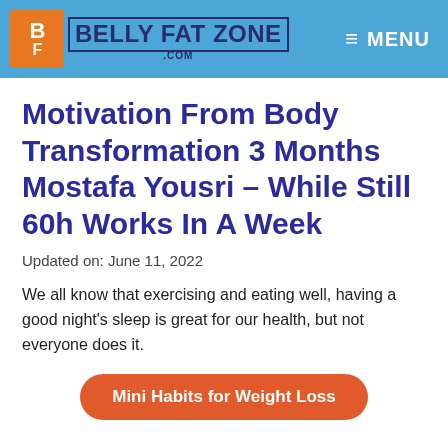BELLY FAT ZONE .COM | MENU
Motivation From Body Transformation 3 Months Mostafa Yousri – While Still 60h Works In A Week
Updated on: June 11, 2022
We all know that exercising and eating well, having a good night's sleep is great for our health, but not everyone does it.
Mini Habits for Weight Loss